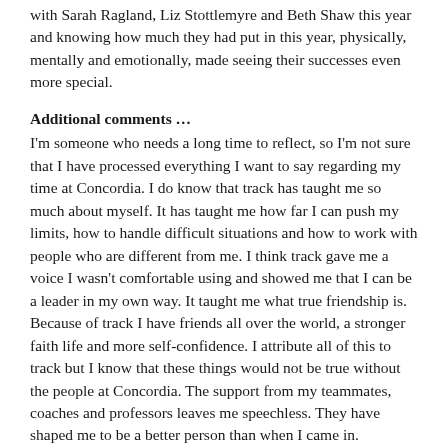with Sarah Ragland, Liz Stottlemyre and Beth Shaw this year and knowing how much they had put in this year, physically, mentally and emotionally, made seeing their successes even more special.
Additional comments …
I'm someone who needs a long time to reflect, so I'm not sure that I have processed everything I want to say regarding my time at Concordia. I do know that track has taught me so much about myself. It has taught me how far I can push my limits, how to handle difficult situations and how to work with people who are different from me. I think track gave me a voice I wasn't comfortable using and showed me that I can be a leader in my own way. It taught me what true friendship is. Because of track I have friends all over the world, a stronger faith life and more self-confidence. I attribute all of this to track but I know that these things would not be true without the people at Concordia. The support from my teammates, coaches and professors leaves me speechless. They have shaped me to be a better person than when I came in. Concordia has a special place in my heart.
Coach McLaughlin said the following at the conclusion of the NAIA outdoor national meet: “Addie is an amazing woman who has given so much of herself to this program, this school and this sport. Her tenacity and dedication is second to none. I was so excited when she decided to use her final year of eligibility. We had a lot of fun this year and she accomplished so much. She did so much for us and I hope she knows she will be missed. Her impact on our family will be far